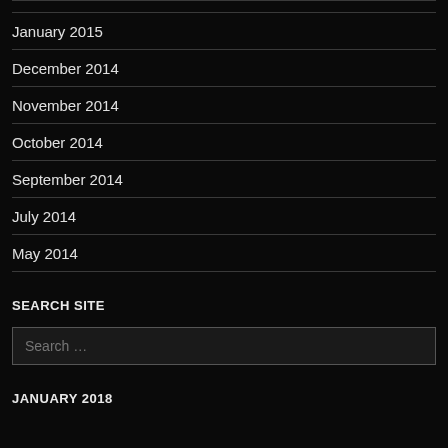January 2015
December 2014
November 2014
October 2014
September 2014
July 2014
May 2014
SEARCH SITE
Search …
JANUARY 2018